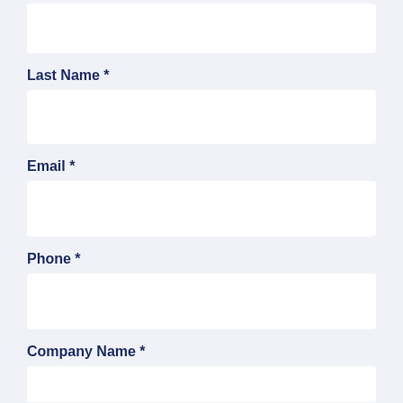[Figure (screenshot): Web form input field (first field, partially visible at top, no label visible)]
Last Name *
[Figure (screenshot): Web form input field for Last Name]
Email *
[Figure (screenshot): Web form input field for Email]
Phone *
[Figure (screenshot): Web form input field for Phone]
Company Name *
[Figure (screenshot): Web form input field for Company Name (partially visible at bottom)]